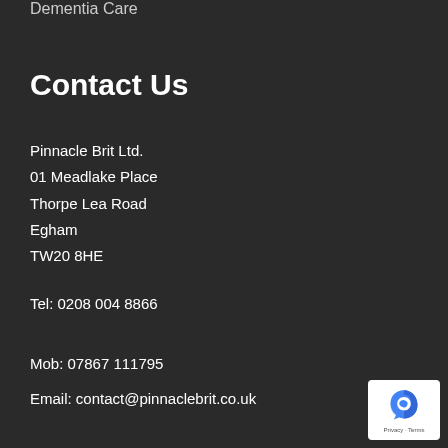Dementia Care
Contact Us
Pinnacle Brit Ltd.
01 Meadlake Place
Thorpe Lea Road
Egham
TW20 8HE
Tel: 0208 004 8866
Mob: 07867 111795
Email: contact@pinnaclebrit.co.uk
[Figure (logo): Google reCAPTCHA badge with Privacy and Terms text]